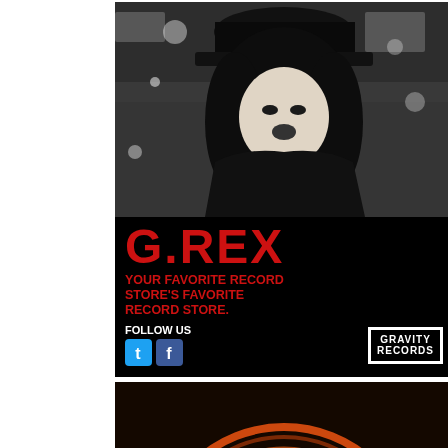[Figure (illustration): G.REX record store advertisement. Top half shows a black and white high-contrast photo of a person with long dark hair and a hat. Below the photo on black background: 'G.REX' in large red bold text, 'YOUR FAVORITE RECORD STORE'S FAVORITE RECORD STORE.' in red bold text, 'FOLLOW US' in white bold text with Twitter and Facebook icons, and Gravity Records logo in white.]
[Figure (photo): Waterloo Records advertisement. Dark background with orange neon ring circles and a rectangular neon sign reading 'WATERLOO' in blue/cyan neon. Below in white neon-style lettering: 'CD'S VIDEOS RECORDS']